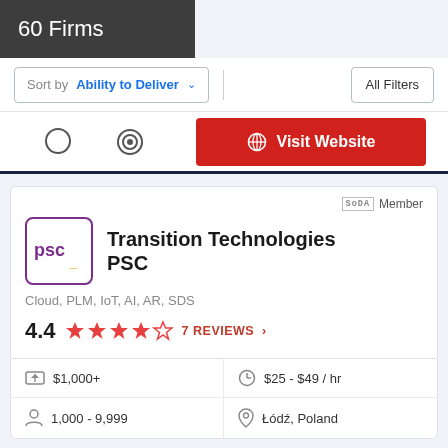60 Firms
Sort by  Ability to Deliver   All Filters
Visit Website
SoDA Member
Transition Technologies PSC
Cloud, PLM, IoT, AI, AR, SDS
4.4   7 REVIEWS
|  |  |  |  |
| --- | --- | --- | --- |
| budget icon | $1,000+ | clock icon | $25 - $49 / hr |
| person icon | 1,000 - 9,999 | location icon | Łódź, Poland |